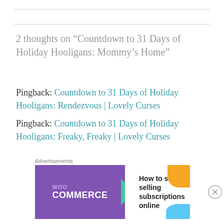2 thoughts on “Countdown to 31 Days of Holiday Hooligans: Mommy’s Home”
Pingback: Countdown to 31 Days of Holiday Hooligans: Rendezvous | Lovely Curses
Pingback: Countdown to 31 Days of Holiday Hooligans: Freaky, Freaky | Lovely Curses
Don't Keep It to Yourself. Write It Down!
Your email address will not be published. Required fields are marked *
[Figure (other): WooCommerce advertisement banner: purple left panel with WooCommerce logo and green arrow, right panel with text 'How to start selling subscriptions online', orange and blue decorative shapes in top-right and bottom-right corners. Advertisements label above.]